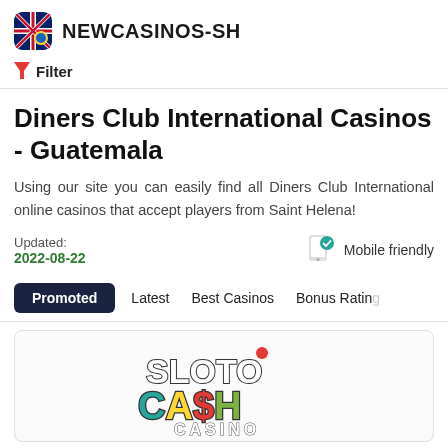NEWCASINOS-SH
Filter
Diners Club International Casinos - Guatemala
Using our site you can easily find all Diners Club International online casinos that accept players from Saint Helena!
Updated: 2022-08-22
Mobile friendly
Promoted
Latest
Best Casinos
Bonus Rating
[Figure (logo): Sloto Cash Casino logo — colorful logo with text SLOTO CASH CASINO]